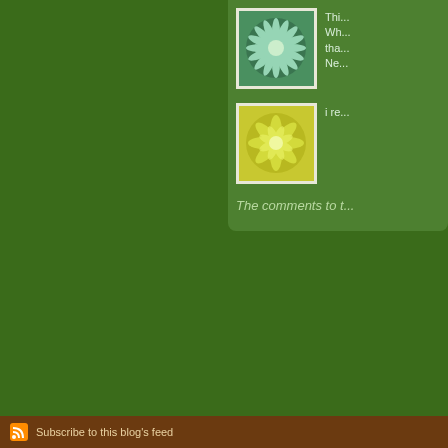[Figure (illustration): Green decorative tile with sunburst/spiral pattern, white on green background]
Wh... tha... Ne...
[Figure (illustration): Yellow-green decorative tile with flower/leaf mandala pattern]
i re...
The comments to t...
P...
Seth Godin on So...
Social Media that fr... that you can't buy a...
Subscribe to this blog's feed